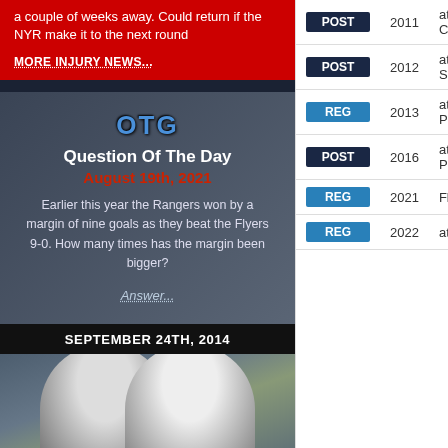a couple of weeks away. Could return if the NYR make it to the next round
MORE INJURY NEWS...
[Figure (infographic): OTG Question Of The Day card for August 19th, 2021 with logo, question text, and answer link on dark background]
SEPTEMBER 24TH, 2014
[Figure (photo): Two New York Rangers hockey players in white helmets and jerseys celebrating, number 13 visible]
| Type | Year | Opponent |
| --- | --- | --- |
| POST | 2011 | at Capitals |
| POST | 2012 | at Senators |
| REG | 2013 | at Panthers |
| POST | 2016 | at Penguins |
| REG | 2021 | Flyers |
| REG | 2022 | at Bruins |